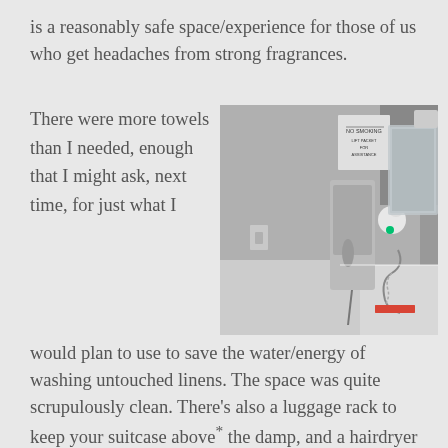is a reasonably safe space/experience for those of us who get headaches from strong fragrances.
There were more towels than I needed, enough that I might ask, next time, for just what I would plan to use to save the water/energy of washing untouched linens. The space was quite scrupulously clean. There’s also a luggage rack to keep your suitcase above* the damp, and a hairdryer if you want it.
[Figure (photo): Photo of a hotel bathroom showing a wall-mounted hairdryer with green LED light, a telephone handset, signage on the wall, a mirror, and a white bathroom counter/sink area.]